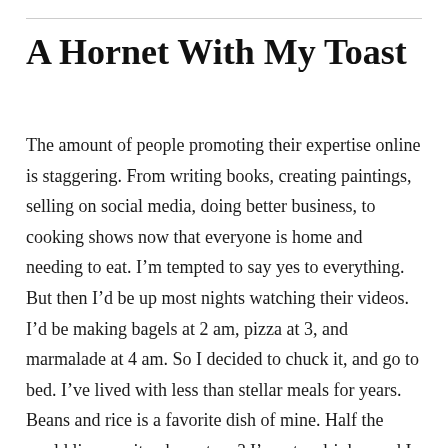A Hornet With My Toast
The amount of people promoting their expertise online is staggering. From writing books, creating paintings, selling on social media, doing better business, to cooking shows now that everyone is home and needing to eat. I’m tempted to say yes to everything. But then I’d be up most nights watching their videos. I’d be making bagels at 2 am, pizza at 3, and marmalade at 4 am. So I decided to chuck it, and go to bed. I’ve lived with less than stellar meals for years. Beans and rice is a favorite dish of mine. Half the world lives on it, why not me? I’m a tea drinker and I discovered  several boxes of English tea in my pantry I forgot I had. I’m good for a